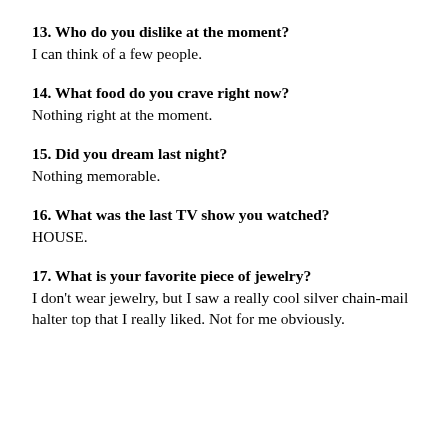13. Who do you dislike at the moment?
I can think of a few people.
14. What food do you crave right now?
Nothing right at the moment.
15. Did you dream last night?
Nothing memorable.
16. What was the last TV show you watched?
HOUSE.
17. What is your favorite piece of jewelry?
I don't wear jewelry, but I saw a really cool silver chain-mail halter top that I really liked. Not for me obviously.